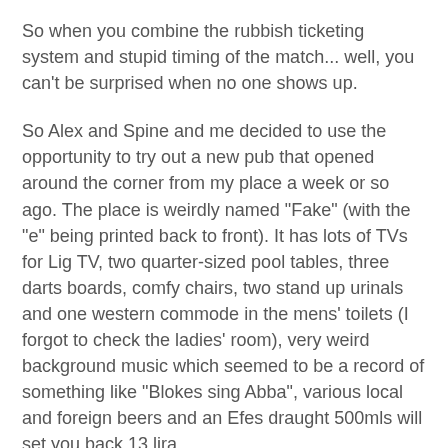So when you combine the rubbish ticketing system and stupid timing of the match... well, you can't be surprised when no one shows up.
So Alex and Spine and me decided to use the opportunity to try out a new pub that opened around the corner from my place a week or so ago. The place is weirdly named "Fake" (with the "e" being printed back to front). It has lots of TVs for Lig TV, two quarter-sized pool tables, three darts boards, comfy chairs, two stand up urinals and one western commode in the mens' toilets (I forgot to check the ladies' room), very weird background music which seemed to be a record of something like "Blokes sing Abba", various local and foreign beers and an Efes draught 500mls will set you back 13 lira.
Kick-off and we get some decent play. Nothing amazing from either team but Gencler were pushing forward whenever they could. They seemed to have upped their tempo quite a bit since Uzulmez took over and they are clearly playing with a lot more passion.